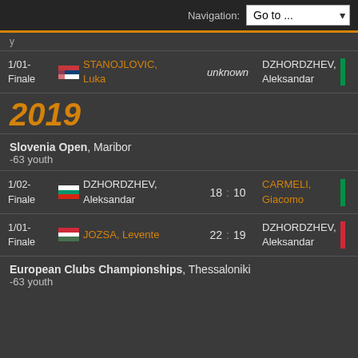Navigation: Go to ...
y
| Round | Flag | Player 1 | Score | Player 2 | Flag |
| --- | --- | --- | --- | --- | --- |
| 1/01-Finale | Serbia | STANOJLOVIC, Luka | unknown | DZHORDZHEV, Aleksandar | Italy |
2019
Slovenia Open, Maribor
-63 youth
| Round | Flag | Player 1 | Score | Player 2 | Flag |
| --- | --- | --- | --- | --- | --- |
| 1/02-Finale | Bulgaria | DZHORDZHEV, Aleksandar | 18 : 10 | CARMELI, Giacomo | Italy |
| 1/01-Finale | Hungary | JOZSA, Levente | 22 : 19 | DZHORDZHEV, Aleksandar | Italy |
European Clubs Championships, Thessaloniki
-63 youth